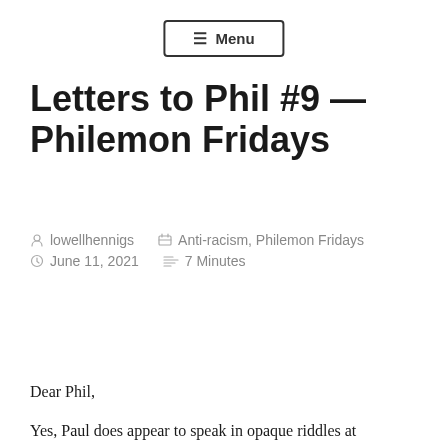≡ Menu
Letters to Phil #9 — Philemon Fridays
lowellhennigs   Anti-racism, Philemon Fridays   June 11, 2021   7 Minutes
[Figure (other): Listen on Spotify button — black rounded rectangle with Spotify logo and text]
Dear Phil,
Yes, Paul does appear to speak in opaque riddles at